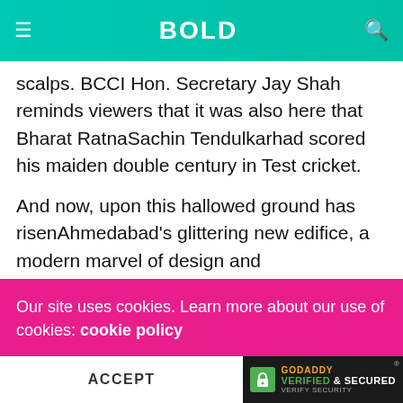BOLD
scalps. BCCI Hon. Secretary Jay Shah reminds viewers that it was also here that Bharat RatnaSachin Tendulkarhad scored his maiden double century in Test cricket.
And now, upon this hallowed ground has risenAhmedabad's glittering new edifice, a modern marvel of design and engineeringand a fitting ode to asport that has given billions of people and generations of Indians, some of their most cherished memories. HistoryTV18's 'Modern Marvel: World's Largest Cricket Stadium'chronicles the construction of this newest
Our site uses cookies. Learn more about our use of cookies: cookie policy
ACCEPT